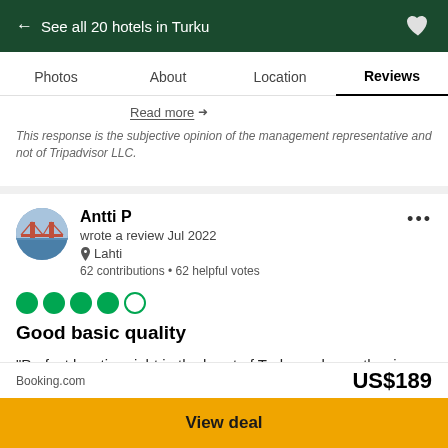← See all 20 hotels in Turku
Photos  About  Location  Reviews
Read more →
This response is the subjective opinion of the management representative and not of Tripadvisor LLC.
Antti P
wrote a review Jul 2022
Lahti
62 contributions • 62 helpful votes
Good basic quality
"Perfect location right in the heart of Turku and near the river. Good service at the desk. Nice and tidy room. If you want to avoid crowds at breakfast go there after 9
Booking.com  US$189
View deal